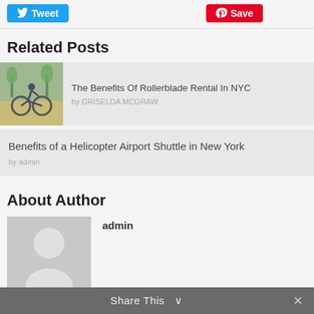[Figure (screenshot): Social share buttons: Tweet (blue Twitter button) and Save (red Pinterest button)]
Related Posts
[Figure (photo): Person riding a bicycle on a path with trees in the background]
The Benefits Of Rollerblade Rental In NYC
by GRISELDA MCGRAW
Benefits of a Helicopter Airport Shuttle in New York
by admin
About Author
[Figure (illustration): Generic grey avatar/silhouette placeholder image for author profile]
admin
Share This  ✓  ×